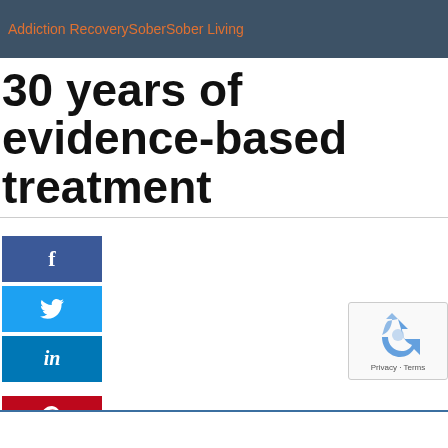Addiction RecoverySoberSober Living
30 years of evidence-based treatment
[Figure (other): Social media share buttons: Facebook (blue), Twitter (light blue), LinkedIn (dark blue), Pinterest (red)]
Search
[Figure (other): reCAPTCHA widget with spinning arrows icon and Privacy - Terms text]